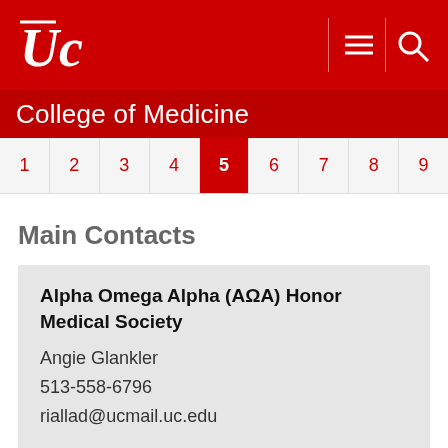[Figure (logo): University of Cincinnati UC logo and navigation header bar in red]
College of Medicine
1 2 3 4 5 6 7 8 9 (pagination)
Main Contacts
Alpha Omega Alpha (AΩA) Honor Medical Society
Angie Glankler
513-558-6796
riallad@ucmail.uc.edu